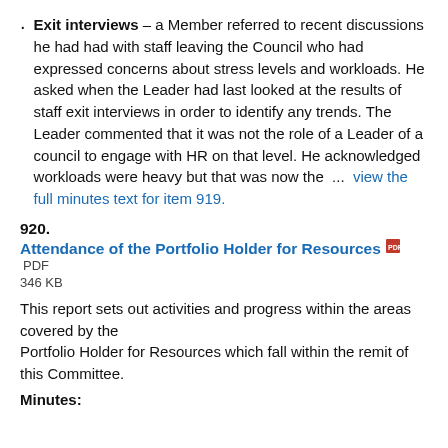Exit interviews – a Member referred to recent discussions he had had with staff leaving the Council who had expressed concerns about stress levels and workloads. He asked when the Leader had last looked at the results of staff exit interviews in order to identify any trends. The Leader commented that it was not the role of a Leader of a council to engage with HR on that level. He acknowledged workloads were heavy but that was now the ... view the full minutes text for item 919.
920.
Attendance of the Portfolio Holder for Resources PDF 346 KB
This report sets out activities and progress within the areas covered by the Portfolio Holder for Resources which fall within the remit of this Committee.
Minutes: